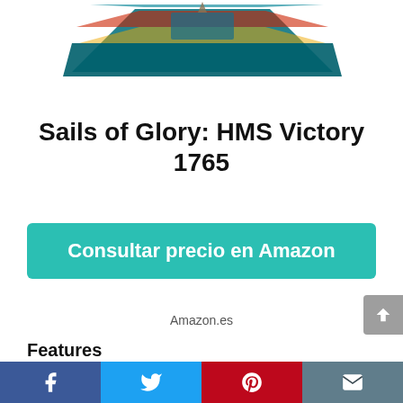[Figure (photo): Partial view of a board game box for Sails of Glory: HMS Victory 1765, showing the top portion of the game box with naval imagery]
Sails of Glory: HMS Victory 1765
Consultar precio en Amazon
Amazon.es
Features
1805 Special Ship Pack
Age range: 8 and up / Number of players: 1 to 4 / Playtime: 45 to...